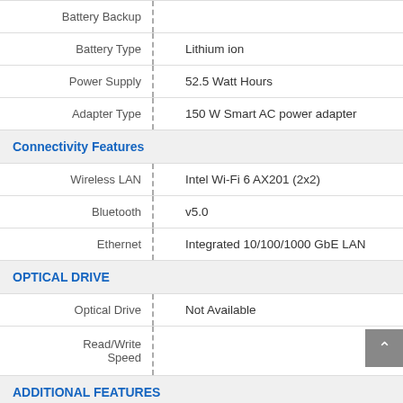| Property | Value |
| --- | --- |
| Battery Backup |  |
| Battery Type | Lithium ion |
| Power Supply | 52.5 Watt Hours |
| Adapter Type | 150 W Smart AC power adapter |
Connectivity Features
| Property | Value |
| --- | --- |
| Wireless LAN | Intel Wi-Fi 6 AX201 (2x2) |
| Bluetooth | v5.0 |
| Ethernet | Integrated 10/100/1000 GbE LAN |
OPTICAL DRIVE
| Property | Value |
| --- | --- |
| Optical Drive | Not Available |
| Read/Write Speed |  |
ADDITIONAL FEATURES